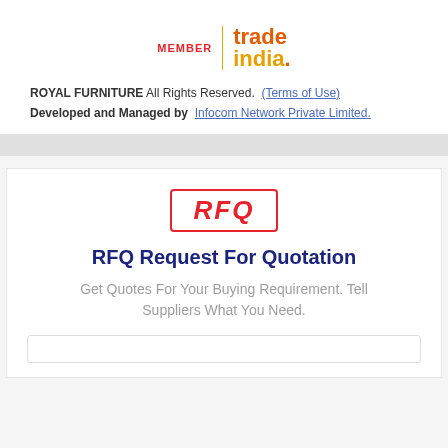[Figure (logo): TradeIndia MEMBER logo with red MEMBER text, vertical orange divider, and two-tone orange/gold 'trade india.' wordmark]
ROYAL FURNITURE All Rights Reserved. (Terms of Use)
Developed and Managed by  Infocom Network Private Limited.
RFQ Request For Quotation
Get Quotes For Your Buying Requirement. Tell Suppliers What You Need.